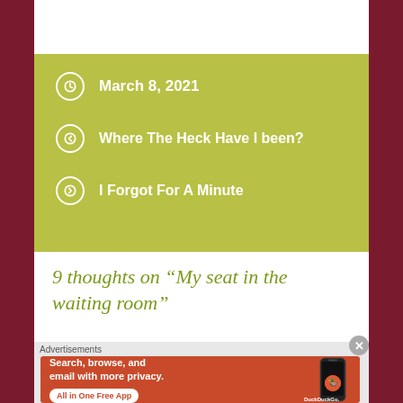March 8, 2021
Where The Heck Have I been?
I Forgot For A Minute
9 thoughts on “My seat in the waiting room”
[Figure (other): DuckDuckGo advertisement banner: Search, browse, and email with more privacy. All in One Free App. DuckDuckGo logo with phone graphic.]